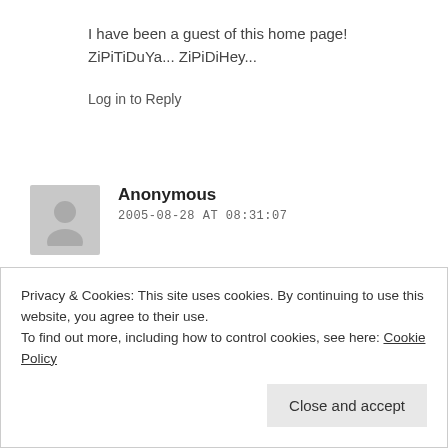I have been a guest of this home page! ZiPiTiDuYa... ZiPiDiHey...
Log in to Reply
Anonymous
2005-08-28 AT 08:31:07
Great Design and useful information. I will be back soon!
Privacy & Cookies: This site uses cookies. By continuing to use this website, you agree to their use.
To find out more, including how to control cookies, see here: Cookie Policy
Close and accept